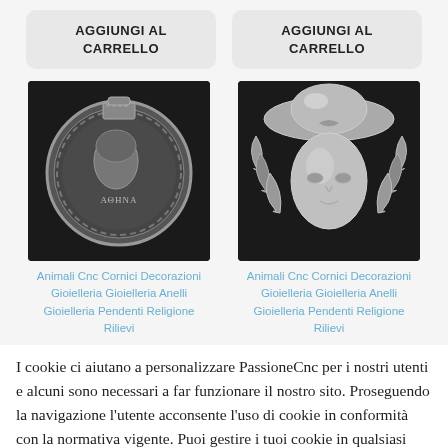AGGIUNGI AL CARRELLO
AGGIUNGI AL CARRELLO
[Figure (photo): 3D rendered silver coin pendant with helmeted warrior profile (Athena) and decorative border pattern]
[Figure (photo): 3D rendered gray sculpture of a masked face with ruffled collar and wide-brimmed hat (Venetian mask style)]
Animali Cnc Cornici Decorazioni Gioielleria Gioielleria Anelli Gioielleria Pendenti Religione Rilievi
Animali Cnc Cornici Decorazioni Gioielleria Gioielleria Anelli Gioielleria Pendenti Religione Rilievi
I cookie ci aiutano a personalizzare PassioneCnc per i nostri utenti e alcuni sono necessari a far funzionare il nostro sito. Proseguendo la navigazione l'utente acconsente l'uso di cookie in conformità con la normativa vigente. Puoi gestire i tuoi cookie in qualsiasi momento.